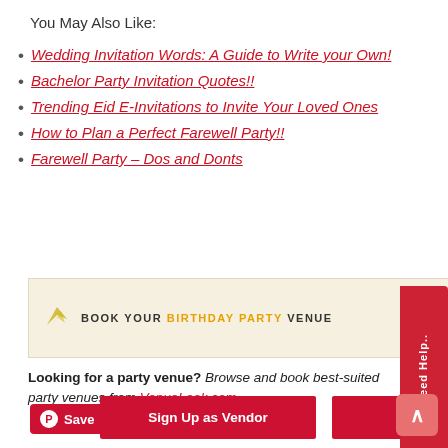You May Also Like:
Wedding Invitation Words: A Guide to Write your Own!
Bachelor Party Invitation Quotes!!
Trending Eid E-Invitations to Invite Your Loved Ones
How to Plan a Perfect Farewell Party!!
Farewell Party – Dos and Donts
[Figure (infographic): Advertisement banner: BOOK YOUR BIRTHDAY PARTY VENUE with BOOK NOW button and VenueLook branding on pink dotted background]
Looking for a party venue? Browse and book best-suited party venues from VenueLook.com
Sign Up as Vendor
Find a Vendor
Save